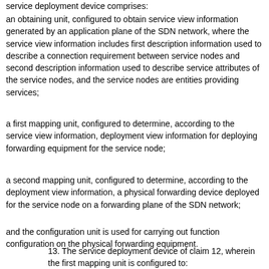service deployment device comprises:
an obtaining unit, configured to obtain service view information generated by an application plane of the SDN network, where the service view information includes first description information used to describe a connection requirement between service nodes and second description information used to describe service attributes of the service nodes, and the service nodes are entities providing services;
a first mapping unit, configured to determine, according to the service view information, deployment view information for deploying forwarding equipment for the service node;
a second mapping unit, configured to determine, according to the deployment view information, a physical forwarding device deployed for the service node on a forwarding plane of the SDN network;
and the configuration unit is used for carrying out function configuration on the physical forwarding equipment.
13. The service deployment device of claim 12, wherein the first mapping unit is configured to: